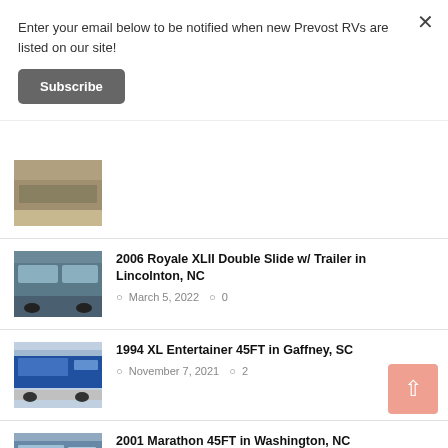Enter your email below to be notified when new Prevost RVs are listed on our site!
Subscribe
[Figure (photo): Thumbnail photo of a bus/RV (partially visible at top)]
2006 Royale XLII Double Slide w/ Trailer in Lincolnton, NC — March 5, 2022 — 0 comments
1994 XL Entertainer 45FT in Gaffney, SC — November 7, 2021 — 2 comments
2001 Marathon 45FT in Washington, NC — September 25, 2021 — 3 comments